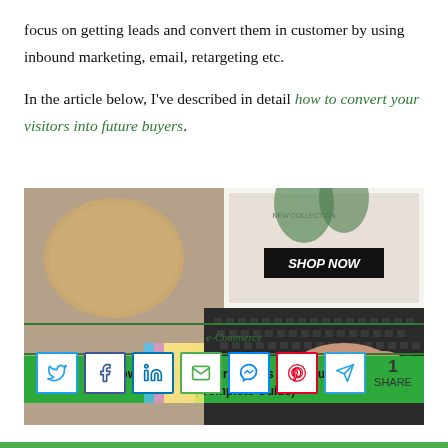focus on getting leads and convert them in customer by using inbound marketing, email, retargeting etc.
In the article below, I've described in detail how to convert your visitors into future buyers.
[Figure (photo): E-commerce banner image showing a woman typing on a laptop keyboard with shopping-related imagery. Green ribbon banner overlay reads 'e-Commerce' and 'How to convert your visitors into future buyers (Complete Guide)'.]